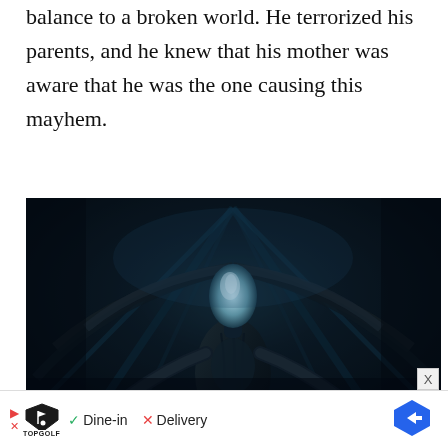balance to a broken world. He terrorized his parents, and he knew that his mother was aware that he was the one causing this mayhem.
[Figure (photo): A dark, atmospheric still from Stranger Things showing the creature Vecna — a tall, dark humanoid figure with an elongated head and tentacle-like appendages spreading behind it in a dimly lit, industrial-looking environment with blue-tinted lighting.]
One turns out to be Vecna. (Netflix)
[Figure (other): Advertisement banner for Topgolf showing a play button icon, Topgolf logo, checkmark with 'Dine-in', X with 'Delivery', and a blue diamond navigation arrow icon.]